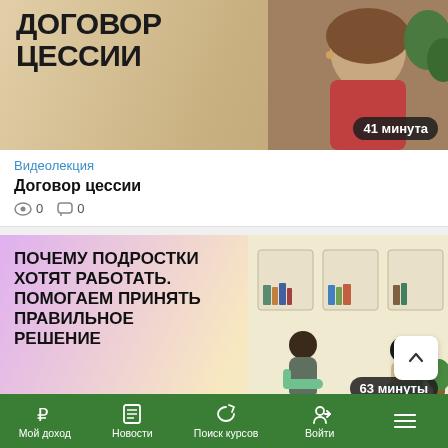[Figure (photo): Thumbnail for 'Договор цессии' video lecture showing text 'ДОГОВОР ЦЕССИИ' and a woman in red shirt, with duration badge '41 минута']
Видеолекция
Договор цессии
0   0
[Figure (illustration): Thumbnail for second video lecture showing bold text 'ПОЧЕМУ ПОДРОСТКИ ХОТЯТ РАБОТАТЬ. ПОМОГАЕМ ПРИНЯТЬ ПРАВИЛЬНОЕ РЕШЕНИЕ' on gradient background with illustration of two people sitting, duration badge '63 минуты']
Видеолекция
«Почему подростки хотят работать. Как семье и школе помочь ребенку принять правильное
Мой доход   Новости   Поиск курсов   Войти